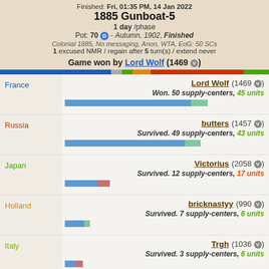Finished: Fri, 01:35 PM, 14 Jan 2022
1885 Gunboat-5
1 day /phase
Pot: 70 D - Autumn, 1902, Finished
Colonial 1885, No messaging, Anon, WTA, EoG: 50 SCs
1 excused NMR / regain after 5 turn(s) / extend never
Game won by Lord Wolf (1469 V)
| Country | Player | Result |
| --- | --- | --- |
| France | Lord Wolf (1469 V) | Won. 50 supply-centers, 45 units |
| Russia | butters (1457 V) | Survived. 49 supply-centers, 43 units |
| Japan | Victorius (2058 V) | Survived. 12 supply-centers, 17 units |
| Holland | bricknastyy (990 V) | Survived. 7 supply-centers, 6 units |
| Italy | Trgh (1036 V) | Survived. 3 supply-centers, 6 units |
| Germany | Dr. Recommended (1526 V) | Survived. 1 supply-centers, 1 units |